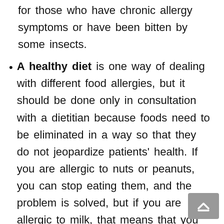for those who have chronic allergy symptoms or have been bitten by some insects.
A healthy diet is one way of dealing with different food allergies, but it should be done only in consultation with a dietitian because foods need to be eliminated in a way so that they do not jeopardize patients' health. If you are allergic to nuts or peanuts, you can stop eating them, and the problem is solved, but if you are allergic to milk, that means that you need to find alternative sources of proteins and calcium.